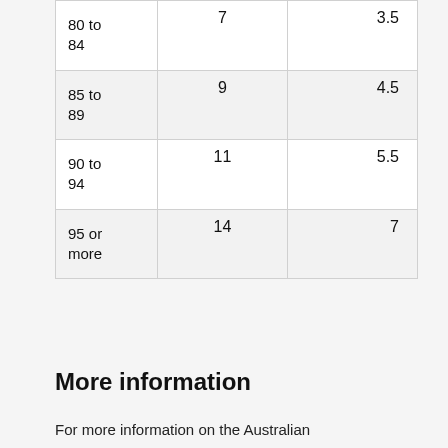| 80 to
84 | 7 | 3.5 |
| 85 to
89 | 9 | 4.5 |
| 90 to
94 | 11 | 5.5 |
| 95 or
more | 14 | 7 |
More information
For more information on the Australian